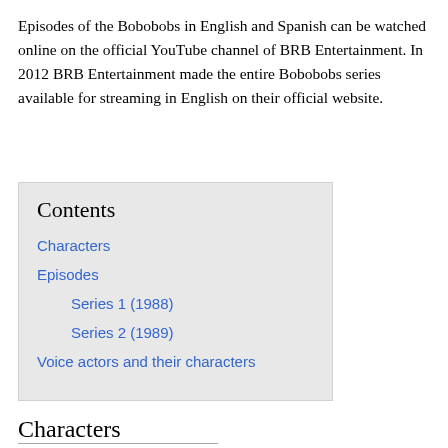Episodes of the Bobobobs in English and Spanish can be watched online on the official YouTube channel of BRB Entertainment. In 2012 BRB Entertainment made the entire Bobobobs series available for streaming in English on their official website.
Contents
Characters
Episodes
Series 1 (1988)
Series 2 (1989)
Voice actors and their characters
Characters